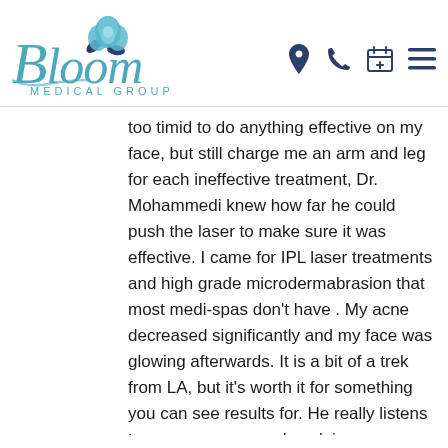[Figure (logo): Bloom Medical Group logo with stylized cursive 'Bloom' text and a rose/flower icon above, with 'MEDICAL GROUP' in spaced capital letters below]
too timid to do anything effective on my face, but still charge me an arm and leg for each ineffective treatment, Dr. Mohammedi knew how far he could push the laser to make sure it was effective. I came for IPL laser treatments and high grade microdermabrasion that most medi-spas don't have . My acne decreased significantly and my face was glowing afterwards. It is a bit of a trek from LA, but it's worth it for something you can see results for. He really listens to your concerns and explains